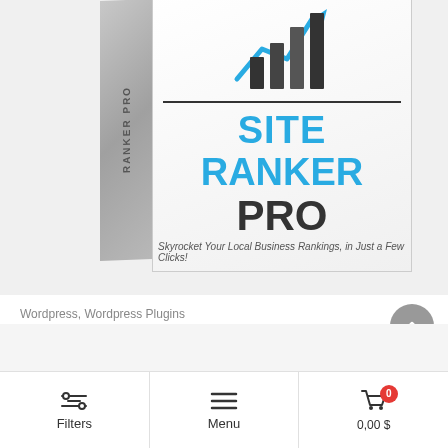[Figure (photo): Site Ranker PRO software box product image with bar chart icon, blue SITE RANKER text, dark PRO text, and tagline about local business rankings]
Wordpress, Wordpress Plugins
Site Ranker PRO
233 Sales
3,99 $
Filters  Menu  0,00 $